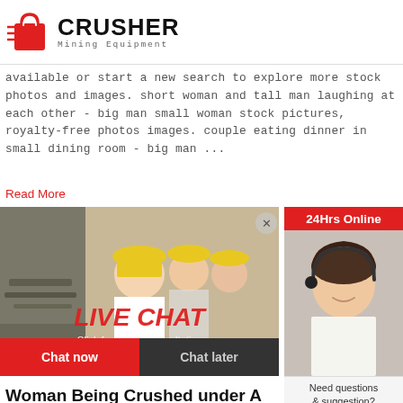CRUSHER Mining Equipment
available or start a new search to explore more stock photos and images. short woman and tall man laughing at each other - big man small woman stock pictures, royalty-free photos images. couple eating dinner in small dining room - big man ...
Read More
[Figure (photo): Live chat banner with construction workers wearing yellow hard hats, showing LIVE CHAT overlay with buttons Chat now and Chat later]
[Figure (photo): Customer service representative with headset on right side, labeled 24Hrs Online]
Need questions & suggestion?
Chat Now
Enquiry
limingjlmofen@sina.com
Woman Being Crushed under A Giant Man's Foot stock ...
Woman Being Crushed under A Giant Man's Foot (Step On Me! Over Me!). A stylized vector cartoon reminiscent of an old screen print poster of a woman being crushed under the foot of a giant a man. Concept to show bullying, intimidation, pressure domestic abuse, woman's issues, feeling the